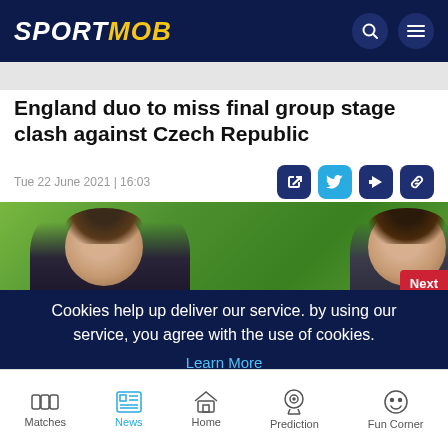SPORTMOB
England duo to miss final group stage clash against Czech Republic
Tue 22 June 2021 | 16:03
[Figure (photo): Two football players photographed from behind/side against a green background]
Cookies help up deliver our service. by using our service, you agree with the use of cookies.
Learn More
I agree
Matches | News | Home | Prediction | Fun Corner